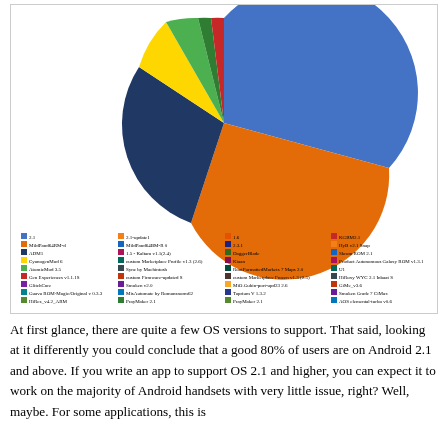[Figure (pie-chart): Pie chart showing Android OS version distribution with a large blue slice (majority), large orange slice, smaller dark blue, yellow, green, red, and other slices, accompanied by a dense multi-column legend listing many device/OS version names.]
At first glance, there are quite a few OS versions to support. That said, looking at it differently you could conclude that a good 80% of users are on Android 2.1 and above. If you write an app to support OS 2.1 and higher, you can expect it to work on the majority of Android handsets with very little issue, right? Well, maybe. For some applications, this is